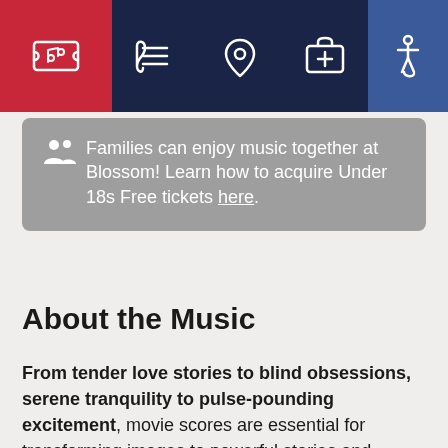[Figure (screenshot): Navigation bar with icons: music/ticket icon on red background, music notes with lines icon, location pin icon, first aid kit icon, accessibility/wheelchair icon on blue background]
Families can enjoy music together at Blossom! Learn how to acquire Under 18s Free tickets here.
About the Music
From tender love stories to blind obsessions, serene tranquility to pulse-pounding excitement, movie scores are essential for transforming images to powerful stories and emotions. Now, Richard Kaufman, one of Hollywood's most sought-after film score conductors, leads the Orchestra in a program filled